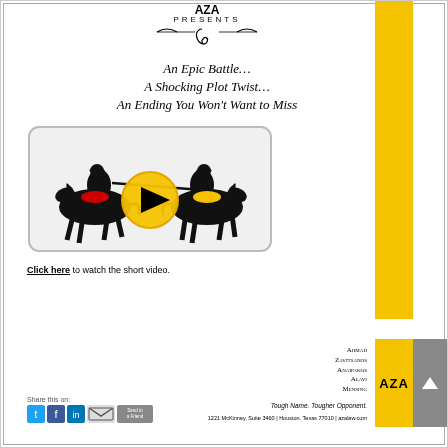PRESENTS
An Epic Battle...
A Shocking Plot Twist...
An Ending You Won't Want to Miss
[Figure (illustration): Two knights on horseback jousting silhouettes with a yellow play button circle in the center, inside a rounded rectangle video thumbnail]
Click here to watch the short video.
Ahmad
Zavitsanos
Anaipakos
Alavi
Mensing
AZA
Tough Name. Tougher Opponent.
1221 McKinney, Suite 3460 | Houston, Texas 77010 | azalaw.com
Share this on: